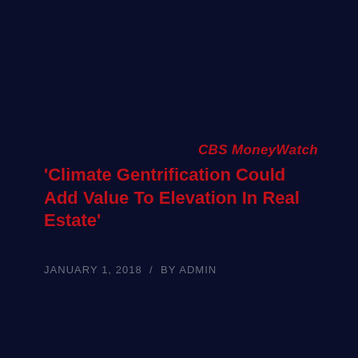CBS MoneyWatch
'Climate Gentrification Could Add Value To Elevation In Real Estate'
JANUARY 1, 2018  /  BY ADMIN